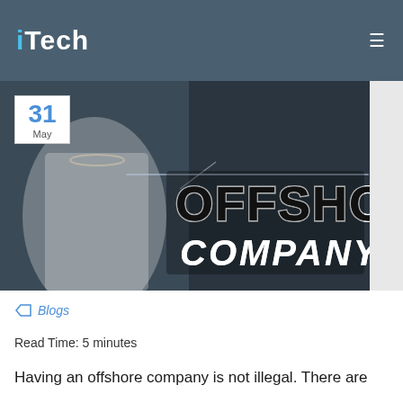iTech
[Figure (photo): A businesswoman in a white blouse pointing at the text 'OFFSHORE COMPANY' on a dark background. A date badge in the top-left shows '31 May'.]
Blogs
Read Time: 5 minutes
Having an offshore company is not illegal. There are